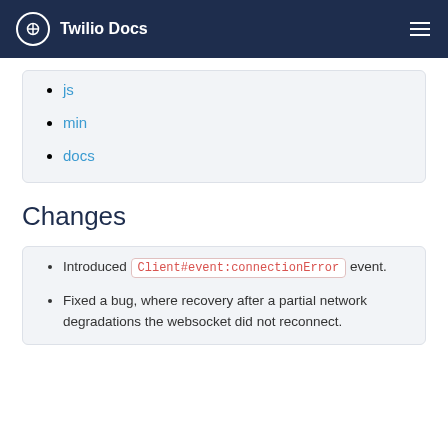Twilio Docs
js
min
docs
Changes
Introduced Client#event:connectionError event.
Fixed a bug, where recovery after a partial network degradations the websocket did not reconnect.